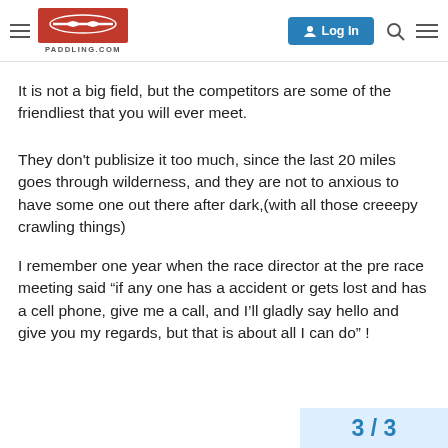PADDLING.COM | Log In
It is not a big field, but the competitors are some of the friendliest that you will ever meet.
They don’t publisize it too much, since the last 20 miles goes through wilderness, and they are not to anxious to have some one out there after dark,(with all those creeepy crawling things)
I remember one year when the race director at the pre race meeting said “if any one has a accident or gets lost and has a cell phone, give me a call, and I’ll gladly say hello and give you my regards, but that is about all I can do” !
3 / 3